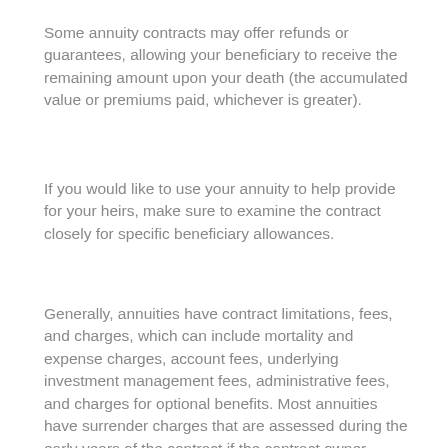Some annuity contracts may offer refunds or guarantees, allowing your beneficiary to receive the remaining amount upon your death (the accumulated value or premiums paid, whichever is greater).
If you would like to use your annuity to help provide for your heirs, make sure to examine the contract closely for specific beneficiary allowances.
Generally, annuities have contract limitations, fees, and charges, which can include mortality and expense charges, account fees, underlying investment management fees, administrative fees, and charges for optional benefits. Most annuities have surrender charges that are assessed during the early years of the contract if the contract owner surrenders the annuity. Withdrawals of annuity earnings are taxed as ordinary income and may be subject to surrender charges plus a 10% federal